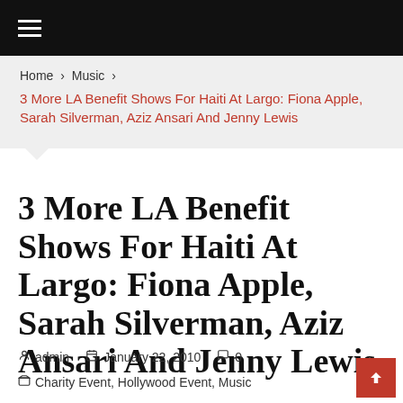☰
Home > Music > 3 More LA Benefit Shows For Haiti At Largo: Fiona Apple, Sarah Silverman, Aziz Ansari And Jenny Lewis
3 More LA Benefit Shows For Haiti At Largo: Fiona Apple, Sarah Silverman, Aziz Ansari And Jenny Lewis
admin   January 22, 2010   0
Charity Event, Hollywood Event, Music